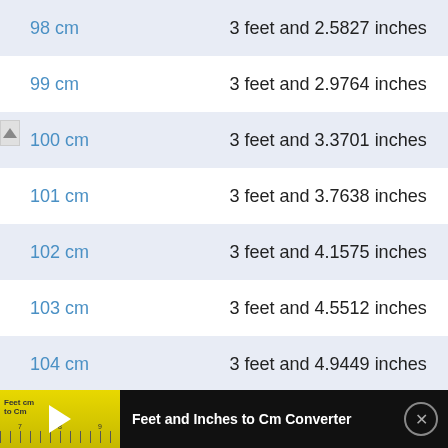| cm | feet and inches |
| --- | --- |
| 98 cm | 3 feet and 2.5827 inches |
| 99 cm | 3 feet and 2.9764 inches |
| 100 cm | 3 feet and 3.3701 inches |
| 101 cm | 3 feet and 3.7638 inches |
| 102 cm | 3 feet and 4.1575 inches |
| 103 cm | 3 feet and 4.5512 inches |
| 104 cm | 3 feet and 4.9449 inches |
Feet and Inches to Cm Converter